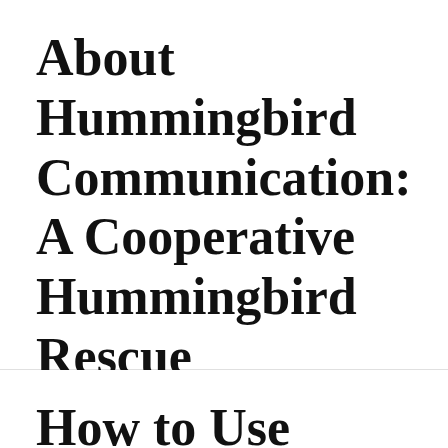About Hummingbird Communication: A Cooperative Hummingbird Rescue
How to Use Rainfall to Your Advantage